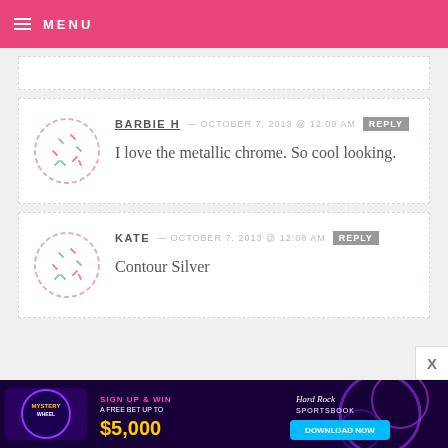MENU
BARBIE H — OCTOBER 7, 2013 @ 12:09 AM  REPLY
I love the metallic chrome. So cool looking.
KATE — OCTOBER 7, 2013 @ 12:08 AM  REPLY
Contour Silver
[Figure (screenshot): Advertisement banner for Hard Rock Sportsbook Mystery Wheel - Sign up and win a free bet up to $5,000. Download Now button visible.]